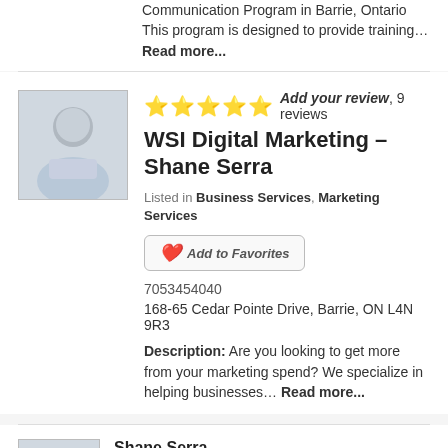Communication Program in Barrie, Ontario This program is designed to provide training… Read more...
WSI Digital Marketing – Shane Serra
Add your review, 9 reviews
Listed in Business Services, Marketing Services
Add to Favorites
7053454040
168-65 Cedar Pointe Drive, Barrie, ON L4N 9R3
Description: Are you looking to get more from your marketing spend? We specialize in helping businesses… Read more...
Shane Serra
Member Since: August 27, 2012